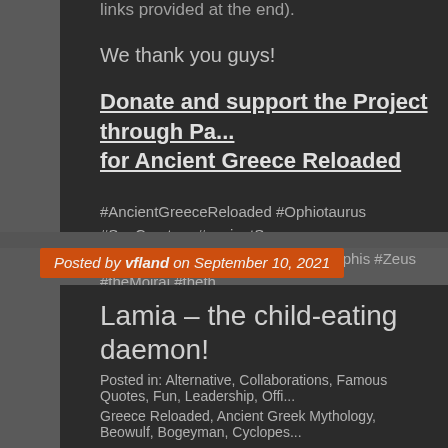links provided at the end).
We thank you guys!
Donate and support the Project through Pa... for Ancient Greece Reloaded
#AncientGreeceReloaded #Ophiotaurus #SeaCreature #ancientS... #StygianBull #SerpentBull #TaurosOphis #Zeus #theMoirai #theth... #Hecatonchires #Cyclopes #Giants #Gigantes #Zeus #Poseidon #... #Titans #Cronus #mythology #history #Olympians #MountOlympu... #ancientGreekmythology
Posted by vfland on September 10, 2021
Lamia – the child-eating daemon!
Posted in: Alternative, Collaborations, Famous Quotes, Fun, Leadership, Offi...
Greece Reloaded, Ancient Greek Mythology, Beowulf, Bogeyman, Cyclopes...